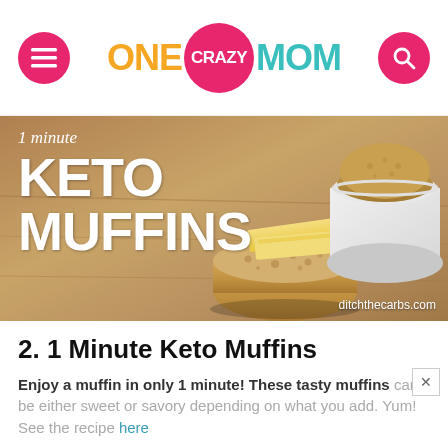ONE CRAZY MOM
[Figure (photo): 1 minute Keto Muffins photo showing a keto muffin with butter slices on top and a muffin in a white ramekin, with text overlay reading '1 minute KETO MUFFINS' and watermark 'ditchthecarbs.com']
2. 1 Minute Keto Muffins
Enjoy a muffin in only 1 minute! These tasty muffins can be either sweet or savory depending on what you add. Yum! See the recipe here